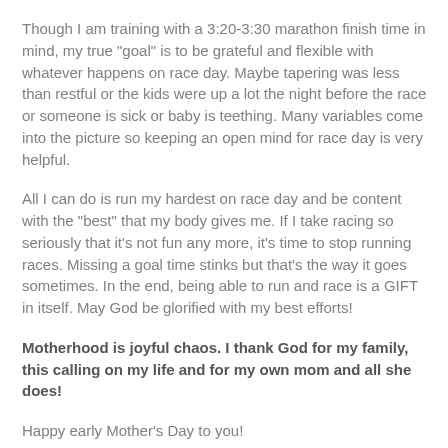Though I am training with a 3:20-3:30 marathon finish time in mind, my true "goal" is to be grateful and flexible with whatever happens on race day. Maybe tapering was less than restful or the kids were up a lot the night before the race or someone is sick or baby is teething. Many variables come into the picture so keeping an open mind for race day is very helpful.
All I can do is run my hardest on race day and be content with the "best" that my body gives me. If I take racing so seriously that it's not fun any more, it's time to stop running races. Missing a goal time stinks but that's the way it goes sometimes. In the end, being able to run and race is a GIFT in itself. May God be glorified with my best efforts!
Motherhood is joyful chaos. I thank God for my family, this calling on my life and for my own mom and all she does!
Happy early Mother's Day to you!